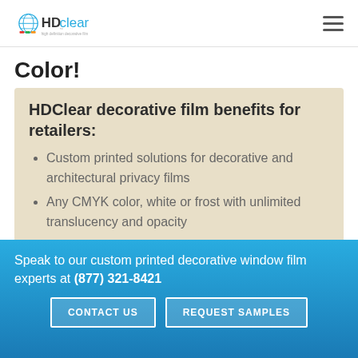HDclear high definition decorative film
Color!
HDClear decorative ​film benefits for retailers:
Custom printed solutions for decorative and architectural privacy films
Any CMYK color, white or frost with unlimited translucency and opacity
100% optical clarity in the un-printed
Speak to our custom printed decorative window film experts at (877) 321-8421
CONTACT US   REQUEST SAMPLES